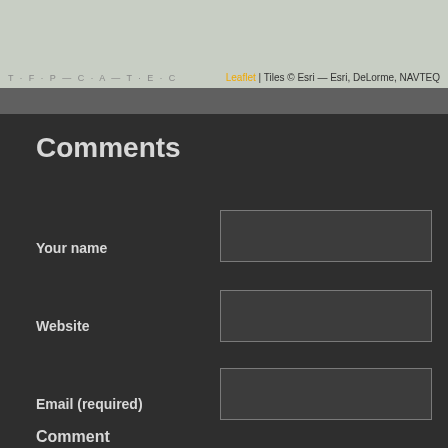[Figure (map): Partial map view (top portion cut off) with Leaflet/Esri tile attribution]
Leaflet | Tiles © Esri — Esri, DeLorme, NAVTEQ
Comments
Your name
Website
Email (required)
Comment
Allowed tags: <p>, <a>, <em>, <strong>, <ul>, <ol>, <li>